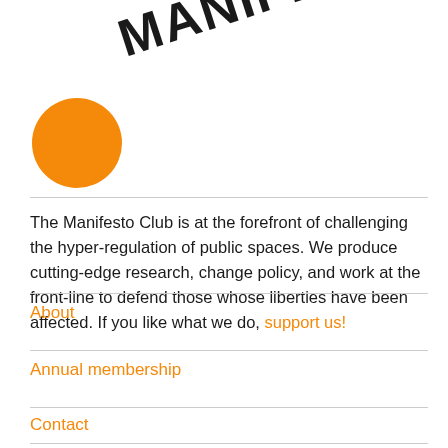[Figure (logo): Manifesto Club logo: orange circle on the left and bold rotated text 'MANIFESTO CLUB' on the right]
The Manifesto Club is at the forefront of challenging the hyper-regulation of public spaces. We produce cutting-edge research, change policy, and work at the front-line to defend those whose liberties have been affected. If you like what we do, support us!
About
Annual membership
Contact
Direct debit